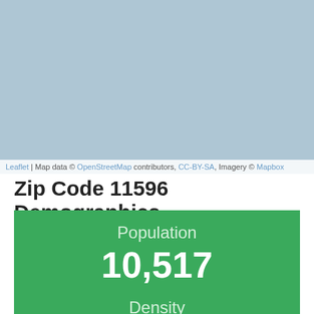[Figure (map): Light blue map area (OpenStreetMap tile) for zip code 11596 area]
Leaflet | Map data © OpenStreetMap contributors, CC-BY-SA, Imagery © Mapbox
Zip Code 11596 Demographics
Population 10,517
Density 7,896.83 / sqml.